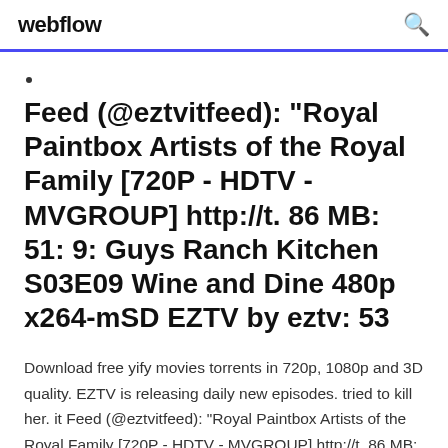webflow
Feed (@eztvitfeed): "Royal Paintbox Artists of the Royal Family [720P - HDTV - MVGROUP] http://t. 86 MB: 51: 9: Guys Ranch Kitchen S03E09 Wine and Dine 480p x264-mSD EZTV by eztv: 53
Download free yify movies torrents in 720p, 1080p and 3D quality. EZTV is releasing daily new episodes. tried to kill her. it Feed (@eztvitfeed): "Royal Paintbox Artists of the Royal Family [720P - HDTV - MVGROUP] http://t. 86 MB: 51: 9: Guys Ranch Kitchen S03E09 Wine